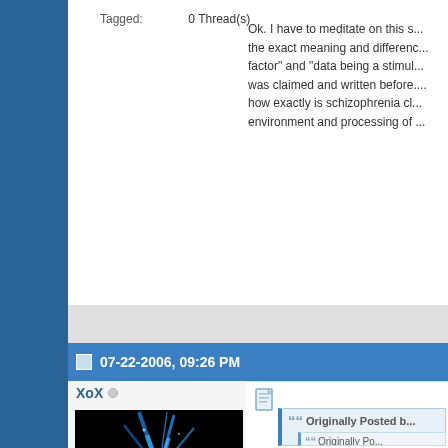Tagged:    0 Thread(s)
Ok. I have to meditate on this s... the exact meaning and differenc... factor" and "data being a stimul... was claimed and written before.... how exactly is schizophrenia cl... environment and processing of ...
07-22-2006, 09:26 PM
XoX
[Figure (illustration): Abstract blue spiked star/explosion fractal art on black background]
Join Date:   Jan 2006
Posts:       4,407
Mentioned:   1 Post(s)
Tagged:      0 Thread(s)
Originally Posted b...
Originally Po...
I think you misu... was saying. I ne... anyone was %1... %100 Introverte... insane).

I said the definin... Extraversion wa... Extraverted data...